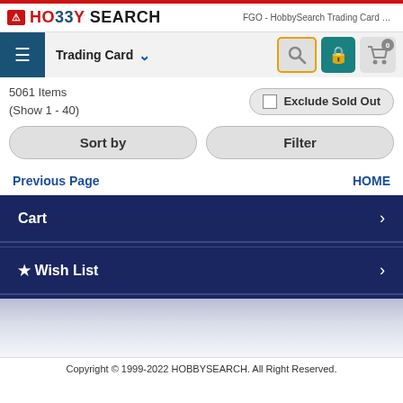HobbySearch — FGO - HobbySearch Trading Card St...
5061 Items (Show 1 - 40)
Exclude Sold Out
Sort by
Filter
Previous Page
HOME
Cart
Wish List
Copyright © 1999-2022 HOBBYSEARCH. All Right Reserved.